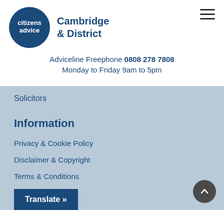[Figure (logo): Citizens Advice logo — dark blue circle with white text 'citizens advice' and speech bubble tail, next to 'Cambridge & District' in dark blue bold text]
Adviceline Freephone 0808 278 7808
Monday to Friday 9am to 5pm
Solicitors
Information
Privacy & Cookie Policy
Disclaimer & Copyright
Terms & Conditions
Accessibility
Translate »